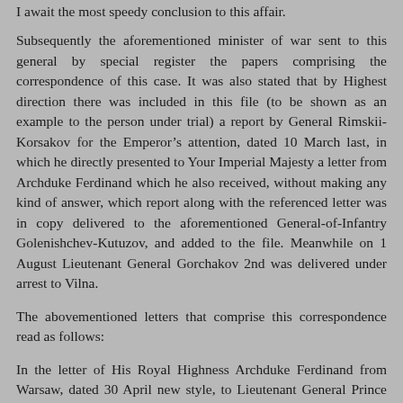I await the most speedy conclusion to this affair.
Subsequently the aforementioned minister of war sent to this general by special register the papers comprising the correspondence of this case. It was also stated that by Highest direction there was included in this file (to be shown as an example to the person under trial) a report by General Rimskii-Korsakov for the Emperor’s attention, dated 10 March last, in which he directly presented to Your Imperial Majesty a letter from Archduke Ferdinand which he also received, without making any kind of answer, which report along with the referenced letter was in copy delivered to the aforementioned General-of-Infantry Golenishchev-Kutuzov, and added to the file. Meanwhile on 1 August Lieutenant General Gorchakov 2nd was delivered under arrest to Vilna.
The abovementioned letters that comprise this correspondence read as follows:
In the letter of His Royal Highness Archduke Ferdinand from Warsaw, dated 30 April new style, to Lieutenant General Prince Gorchakov:
“Taking advantage of a courier passing through Brest, I wish to inform you of the successes Emperor Francis’ armies in Italy and Germany, the details of which you will find in the accompanying bulletins. Knowing your frame of mind when